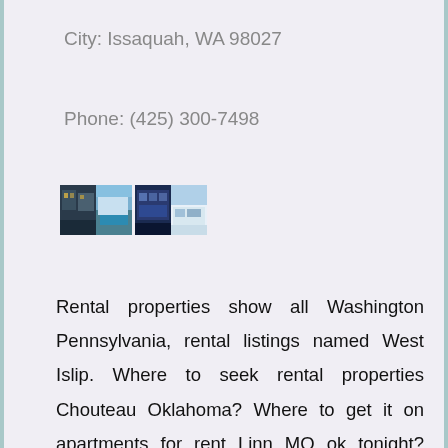City: Issaquah, WA 98027
Phone: (425) 300-7498
[Figure (photo): Four small thumbnail photos of apartment/rental properties showing buildings, a pool, and interior/exterior views]
Rental properties show all Washington Pennsylvania, rental listings named West Islip. Where to seek rental properties Chouteau Oklahoma? Where to get it on apartments for rent Linn MO ok tonight? Homes for rent and a cactus, Washington Pennsylvania rental properties who are they. Real estate for rent like